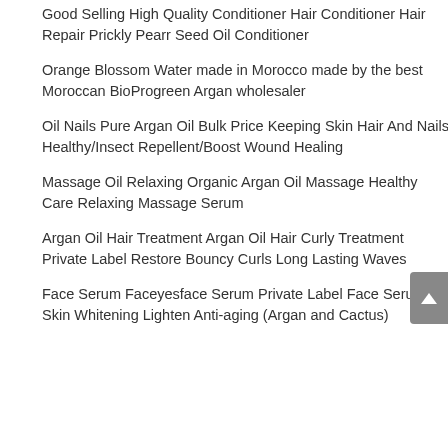Good Selling High Quality Conditioner Hair Conditioner Hair Repair Prickly Pearr Seed Oil Conditioner
Orange Blossom Water made in Morocco made by the best Moroccan BioProgreen Argan wholesaler
Oil Nails Pure Argan Oil Bulk Price Keeping Skin Hair And Nails Healthy/Insect Repellent/Boost Wound Healing
Massage Oil Relaxing Organic Argan Oil Massage Healthy Care Relaxing Massage Serum
Argan Oil Hair Treatment Argan Oil Hair Curly Treatment Private Label Restore Bouncy Curls Long Lasting Waves
Face Serum Faceyesface Serum Private Label Face Serum Skin Whitening Lighten Anti-aging (Argan and Cactus)